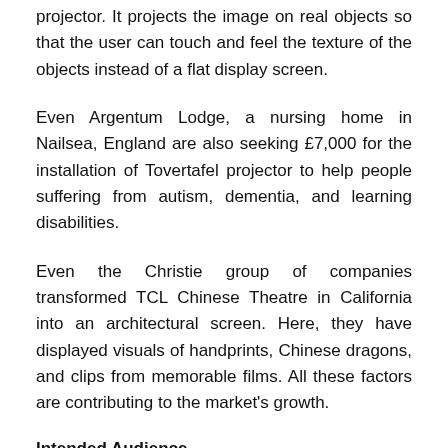projector. It projects the image on real objects so that the user can touch and feel the texture of the objects instead of a flat display screen.
Even Argentum Lodge, a nursing home in Nailsea, England are also seeking £7,000 for the installation of Tovertafel projector to help people suffering from autism, dementia, and learning disabilities.
Even the Christie group of companies transformed TCL Chinese Theatre in California into an architectural screen. Here, they have displayed visuals of handprints, Chinese dragons, and clips from memorable films. All these factors are contributing to the market's growth.
Intended Audience
Educational institues
Research organizations
Corporate firms